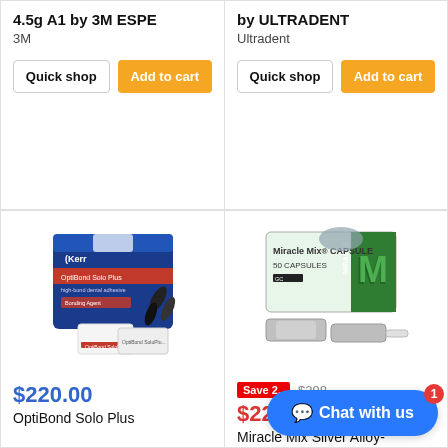4.5g A1 by 3M ESPE
3M
Quick shop
Add to cart
by ULTRADENT
Ultradent
Quick shop
Add to cart
[Figure (photo): OptiBond Solo Plus dental adhesive product box and accessories by Kerr]
$220.00
OptiBond Solo Plus
[Figure (photo): Miracle Mix Capsule 50 Capsules dental product box by GC]
Save 2...
$298...
$220.00
Miracle Mix Silver Alloy-